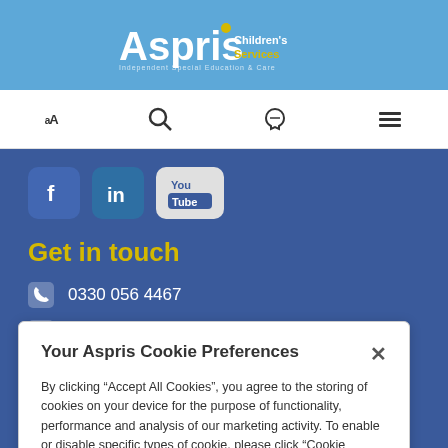Aspris Children's Services
[Figure (logo): Aspris Children's Services logo on blue background]
[Figure (screenshot): Navigation bar with text size (aA), search, phone, and menu icons]
[Figure (infographic): Social media icons: Facebook, LinkedIn, YouTube on blue background]
Get in touch
0330 056 4467
Email us
Your Aspris Cookie Preferences
By clicking “Accept All Cookies”, you agree to the storing of cookies on your device for the purpose of functionality, performance and analysis of our marketing activity. To enable or disable specific types of cookie, please click “Cookie Settings” and update your preferences. See our Cookie